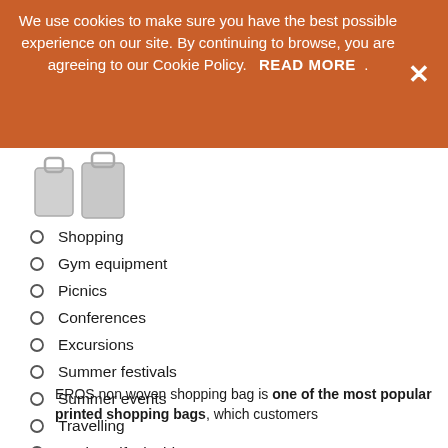We use cookies to make sure you have the best possible experience on our site. By continuing to browse, you are agreeing to our Cookie Policy. READ MORE .
[Figure (illustration): Shopping bag icon graphic in gray tones]
Shopping
Gym equipment
Picnics
Conferences
Excursions
Summer festivals
Summer events
Travelling
Putting gifts inside
Employees starting packages
Products or services selling campaigns
EROS non woven shopping bag is one of the most popular printed shopping bags, which customers choose because of durability, consisting of a large number of...